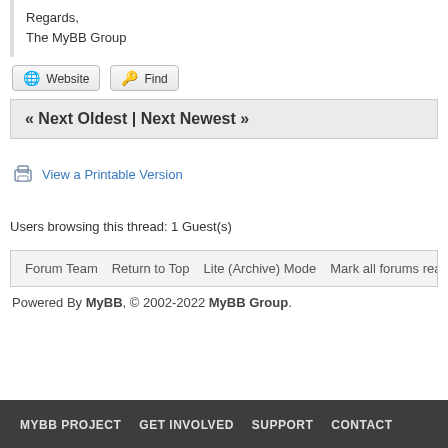Regards,
The MyBB Group
Website  Find
« Next Oldest | Next Newest »
View a Printable Version
Users browsing this thread: 1 Guest(s)
Forum Team   Return to Top   Lite (Archive) Mode   Mark all forums rea...
Powered By MyBB, © 2002-2022 MyBB Group.
MYBB PROJECT   GET INVOLVED   SUPPORT   CONTACT